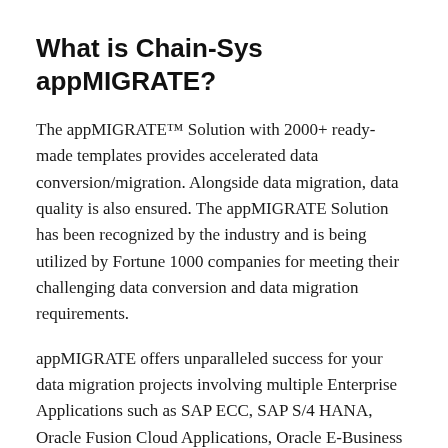What is Chain-Sys appMIGRATE?
The appMIGRATE™ Solution with 2000+ ready-made templates provides accelerated data conversion/migration. Alongside data migration, data quality is also ensured. The appMIGRATE Solution has been recognized by the industry and is being utilized by Fortune 1000 companies for meeting their challenging data conversion and data migration requirements.
appMIGRATE offers unparalleled success for your data migration projects involving multiple Enterprise Applications such as SAP ECC, SAP S/4 HANA, Oracle Fusion Cloud Applications, Oracle E-Business Suite, JDEdwards, PeopleSoft, Salesforce,